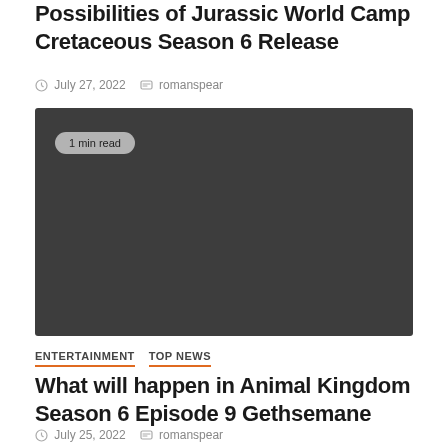Possibilities of Jurassic World Camp Cretaceous Season 6 Release
July 27, 2022   romanspear
[Figure (photo): Dark gray placeholder image with '1 min read' badge in top left corner]
ENTERTAINMENT   TOP NEWS
What will happen in Animal Kingdom Season 6 Episode 9 Gethsemane
July 25, 2022   romanspear